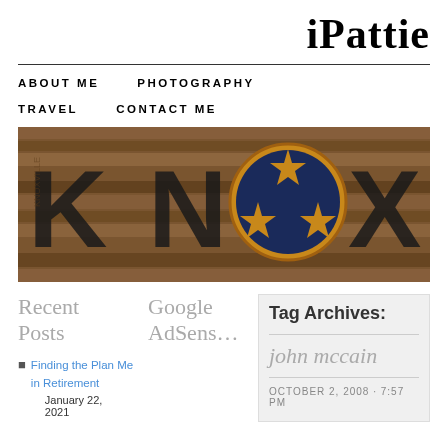iPattie
ABOUT ME   PHOTOGRAPHY   TRAVEL   CONTACT ME
[Figure (photo): A photo of wooden letters spelling KNOX with a Tennessee three-star medallion, made from reclaimed wood]
Recent Posts
Google AdSense
Tag Archives:
john mccain
Finding the Plan Me in Retirement
January 22, 2021
OCTOBER 2, 2008 · 7:57 PM